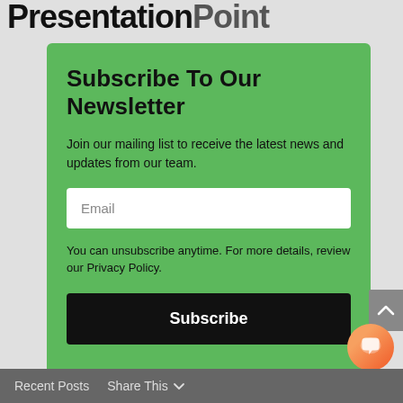PresentationPoint
Subscribe To Our Newsletter
Join our mailing list to receive the latest news and updates from our team.
Email
You can unsubscribe anytime. For more details, review our Privacy Policy.
Subscribe
Recent Posts   Share This